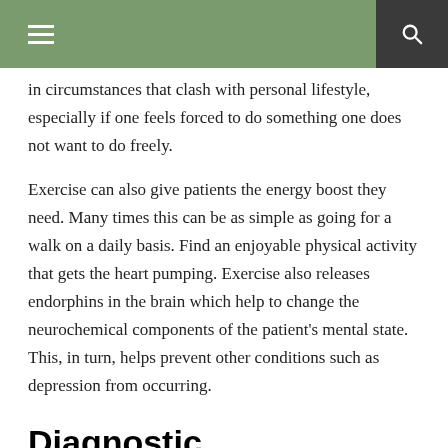≡  🔍
in circumstances that clash with personal lifestyle, especially if one feels forced to do something one does not want to do freely.
Exercise can also give patients the energy boost they need. Many times this can be as simple as going for a walk on a daily basis. Find an enjoyable physical activity that gets the heart pumping. Exercise also releases endorphins in the brain which help to change the neurochemical components of the patient's mental state. This, in turn, helps prevent other conditions such as depression from occurring.
Diagnostic Considerations